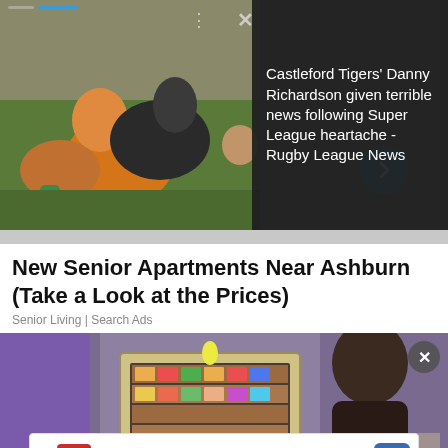[Figure (photo): Rugby league players tackling on a field, with a dark overlay panel on the right showing a news headline about Castleford Tigers' Danny Richardson.]
Castleford Tigers' Danny Richardson given terrible news following Super League heartache - Rugby League News
New Senior Apartments Near Ashburn (Take a Look at the Prices)
Senior Living | Search Ads
[Figure (photo): Interior scene with a vending machine and a person with dark hair, with an advertisement overlay at the bottom for Smoothie King at Ashburn showing address 20035 Ashbrook Commons Plaza.]
Ashburn OPEN | 7AM–9PM 20035 Ashbrook Commons Plaza, Un..